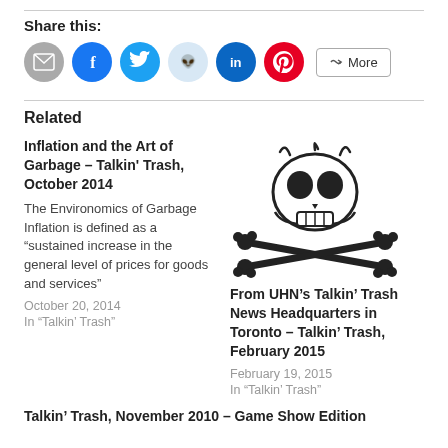Share this:
[Figure (infographic): Row of social share icons: email (grey), Facebook (blue), Twitter (cyan), Reddit (light blue), LinkedIn (dark blue), Pinterest (red), and a More button]
Related
Inflation and the Art of Garbage – Talkin' Trash, October 2014
The Environomics of Garbage Inflation is defined as a “sustained increase in the general level of prices for goods and services”
October 20, 2014
In "Talkin' Trash"
[Figure (illustration): Skull and crossbones illustration in black and white]
From UHN's Talkin' Trash News Headquarters in Toronto – Talkin' Trash, February 2015
February 19, 2015
In "Talkin' Trash"
Talkin' Trash, November 2010 – Game Show Edition